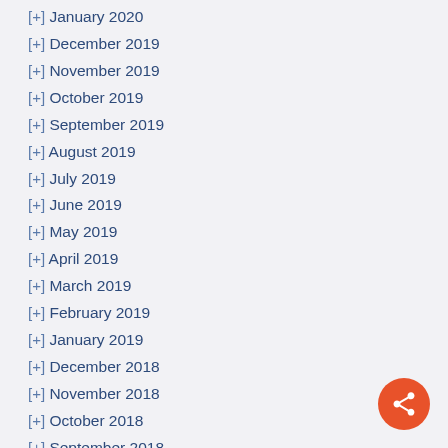[+] January 2020
[+] December 2019
[+] November 2019
[+] October 2019
[+] September 2019
[+] August 2019
[+] July 2019
[+] June 2019
[+] May 2019
[+] April 2019
[+] March 2019
[+] February 2019
[+] January 2019
[+] December 2018
[+] November 2018
[+] October 2018
[+] September 2018
[+] August 2018
[+] July 2018
[+] June 2018
[+] May 2018
[+] April 2018